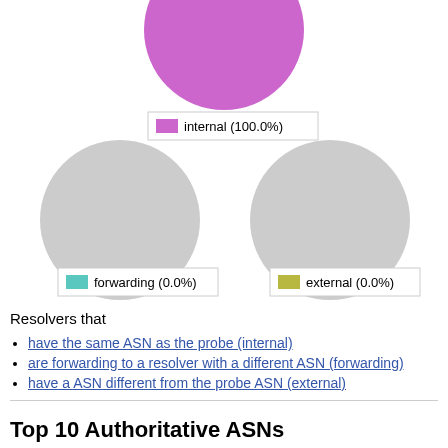[Figure (pie-chart): internal (100.0%)]
[Figure (pie-chart): forwarding (0.0%)]
[Figure (pie-chart): external (0.0%)]
Resolvers that
have the same ASN as the probe (internal)
are forwarding to a resolver with a different ASN (forwarding)
have a ASN different from the probe ASN (external)
Top 10 Authoritative ASNs